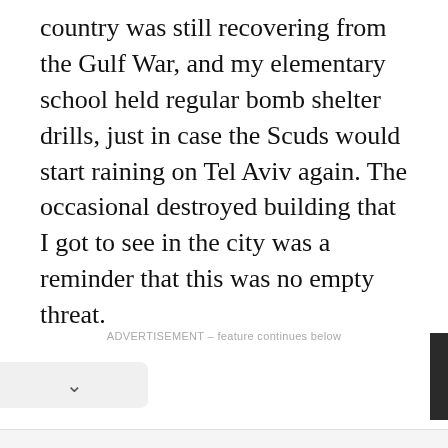country was still recovering from the Gulf War, and my elementary school held regular bomb shelter drills, just in case the Scuds would start raining on Tel Aviv again. The occasional destroyed building that I got to see in the city was a reminder that this was no empty threat.
ADVERTISEMENT – feature continues below